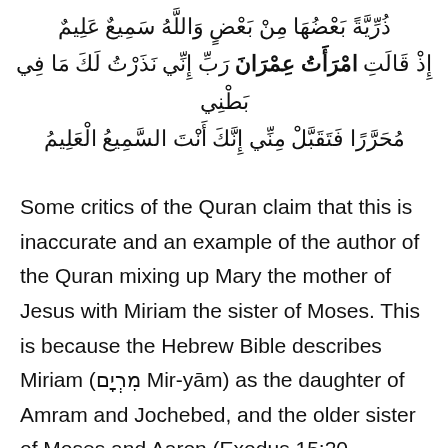ذُرِّيَّةً بَعْضُهَا مِنْ بَعْضٍ وَاللَّهُ سَمِيعٌ عَلِيمٌ إِذْ قَالَتِ امْرَأَتُ عِمْرَانَ رَبِّ إِنِّي نَذَرْتُ لَكَ مَا فِي بَطْنِي مُحَرَّرًا فَتَقَبَّلْ مِنِّي إِنَّكَ أَنْتَ السَّمِيعُ الْعَلِيمُ
Some critics of the Quran claim that this is inaccurate and an example of the author of the Quran mixing up Mary the mother of Jesus with Miriam the sister of Moses. This is because the Hebrew Bible describes Miriam (מִרְיָם Mir-yām) as the daughter of Amram and Jochebed, and the older sister of Moses and Aaron (Exodus 15:20, Numbers 12:1, and 26:59).